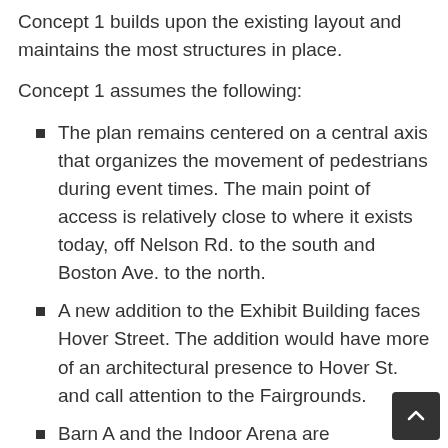Concept 1 builds upon the existing layout and maintains the most structures in place.
Concept 1 assumes the following:
The plan remains centered on a central axis that organizes the movement of pedestrians during event times. The main point of access is relatively close to where it exists today, off Nelson Rd. to the south and Boston Ave. to the north.
A new addition to the Exhibit Building faces Hover Street. The addition would have more of an architectural presence to Hover St. and call attention to the Fairgrounds.
Barn A and the Indoor Arena are